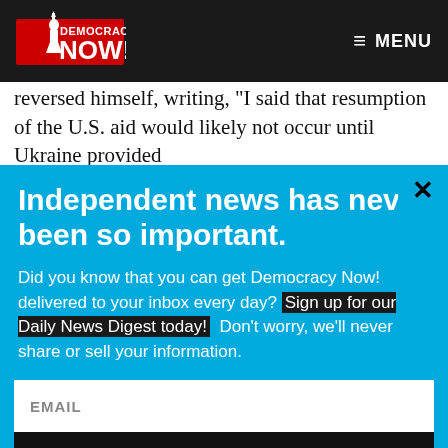Democracy Now! — MENU
reversed himself, writing, "I said that resumption of the U.S. aid would likely not occur until Ukraine provided
Independent news has never been so important.
Did you know that you can get Democracy Now! delivered to your inbox every day? Sign up for our Daily News Digest today! Don't worry, we'll never share or sell your information.
EMAIL
SIGN UP!